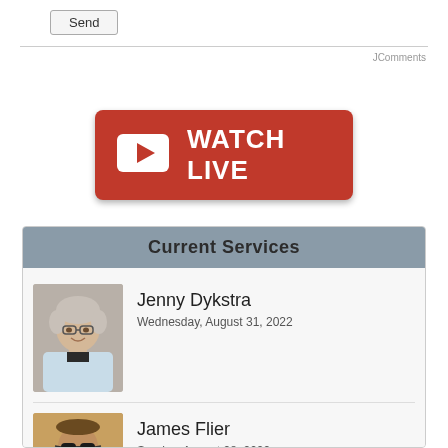Send
JComments
[Figure (other): Red 'Watch Live' button with YouTube play icon and white bold text 'WATCH LIVE']
Current Services
[Figure (photo): Portrait photo of Jenny Dykstra, an older woman with short gray hair, glasses, wearing a light blue jacket]
Jenny Dykstra
Wednesday, August 31, 2022
[Figure (photo): Portrait photo of James Flier, a man wearing sunglasses, outdoor background]
James Flier
Sunday, August 28, 2022